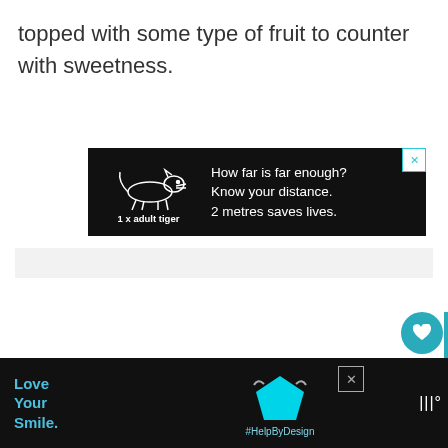topped with some type of fruit to counter with sweetness.
[Figure (screenshot): Advertisement banner with black background showing a tiger outline and text: '1 x adult tiger — How far is far enough? Know your distance. 2 metres saves lives.' with an X close button in teal.]
[Figure (screenshot): Sidebar UI elements: teal heart/like button, count '39', share button with arrows icon, and a teal vertical bar.]
[Figure (screenshot): Bottom advertisement with black background: 'Love Your Smile.' text in blue on left, cyan pentagon/face mask icon in center, #HelpByDesign hashtag, X close button, and brand logo on right.]